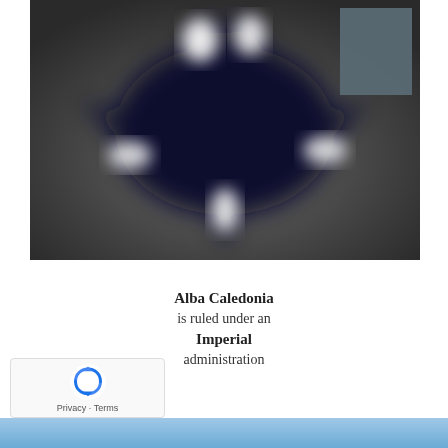[Figure (illustration): A blurred image of a dark navy blue star or flag emblem with white highlights, set against a dark grey background. A grey rectangle overlay appears in the top-right corner.]
Alba Caledonia
is ruled under an
Imperial
administration
[Figure (logo): reCAPTCHA logo with circular arrows icon in blue, with Privacy and Terms text below.]